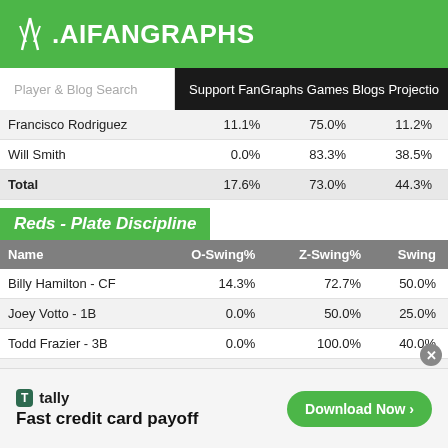FanGraphs
Player & Blog Search | Support FanGraphs Games Blogs Projections
| Name | O-Swing% | Z-Swing% | Swing% |
| --- | --- | --- | --- |
| Francisco Rodriguez | 11.1% | 75.0% | 11.2% |
| Will Smith | 0.0% | 83.3% | 38.5% |
| Total | 17.6% | 73.0% | 44.3% |
Reds - Plate Discipline
| Name | O-Swing% | Z-Swing% | Swing% |
| --- | --- | --- | --- |
| Billy Hamilton - CF | 14.3% | 72.7% | 50.0% |
| Joey Votto - 1B | 0.0% | 50.0% | 25.0% |
| Todd Frazier - 3B | 0.0% | 100.0% | 40.0% |
| Jay Bruce - RF | 44.4% | 50.0% | 46.2% |
| Marlon Byrd - LF | 35.7% | 100.0% | 50.0% |
| Brayan Pena - C | 0.0% | 50.0% | 21.4% |
tally - Fast credit card payoff - Download Now